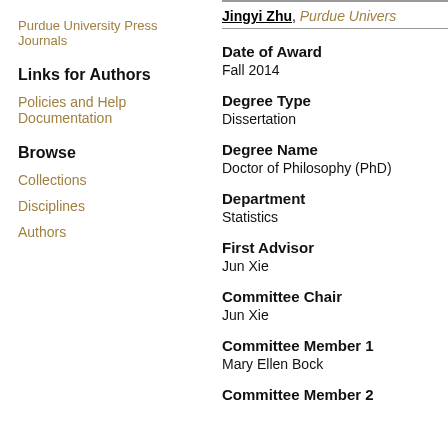Purdue University Press Journals
Links for Authors
Policies and Help Documentation
Browse
Collections
Disciplines
Authors
Jingyi Zhu, Purdue Univers
Date of Award
Fall 2014
Degree Type
Dissertation
Degree Name
Doctor of Philosophy (PhD)
Department
Statistics
First Advisor
Jun Xie
Committee Chair
Jun Xie
Committee Member 1
Mary Ellen Bock
Committee Member 2